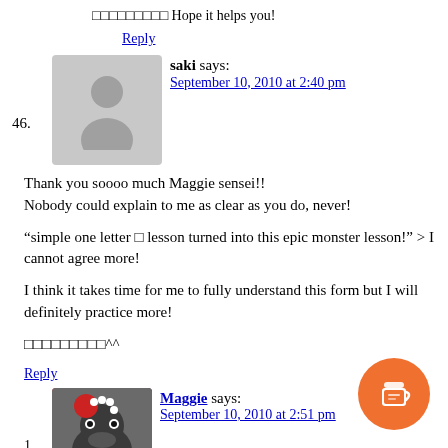□□□□□□□□□ Hope it helps you!
Reply
46. saki says: September 10, 2010 at 2:40 pm
Thank you soooo much Maggie sensei!! Nobody could explain to me as clear as you do, never!
“simple one letter □ lesson turned into this epic monster lesson!” > I cannot agree more!
I think it takes time for me to fully understand this form but I will definitely practice more!
□□□□□□□□□^^
Reply
1. Maggie says: September 10, 2010 at 2:51 pm